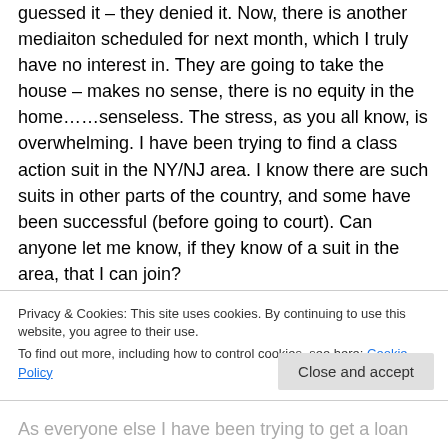guessed it – they denied it. Now, there is another mediaiton scheduled for next month, which I truly have no interest in. They are going to take the house – makes no sense, there is no equity in the home……senseless. The stress, as you all know, is overwhelming. I have been trying to find a class action suit in the NY/NJ area. I know there are such suits in other parts of the country, and some have been successful (before going to court). Can anyone let me know, if they know of a suit in the area, that I can join?
Privacy & Cookies: This site uses cookies. By continuing to use this website, you agree to their use. To find out more, including how to control cookies, see here: Cookie Policy
Close and accept
As everyone else I have been trying to get a loan